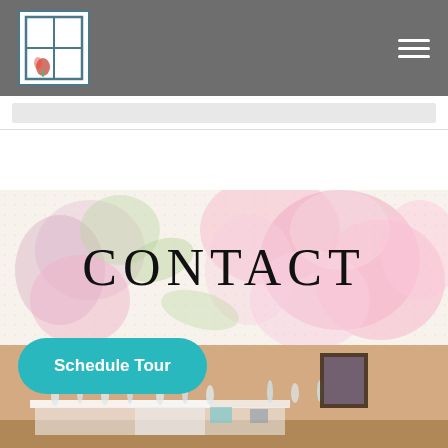[Figure (illustration): Website screenshot showing a header bar with a logo (window with flower painting, blue border) on the left and hamburger menu icon on the right, on a gray background.]
CONTACT
[Figure (illustration): Teal/turquoise rounded rectangle button labeled 'Schedule Tour']
[Figure (photo): Interior room with tables set with glassware and decorative items, warm beige walls, framed artwork visible in background.]